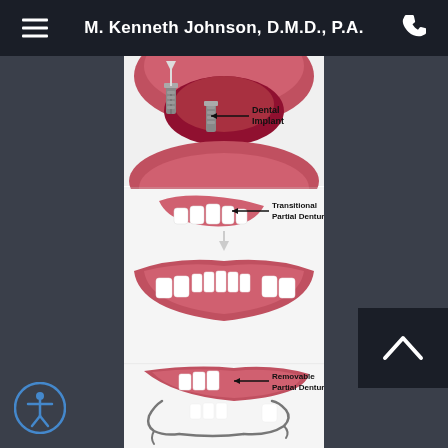M. Kenneth Johnson, D.M.D., P.A.
[Figure (illustration): Medical dental illustration showing three types of dental prosthetics: Dental Implant (top panel with arrow pointing to implant screw in gum), Transitional Partial Denture (middle panel showing partial denture being placed over lower jaw), and Removable Partial Denture (bottom panel showing metal-clasp removable partial denture).]